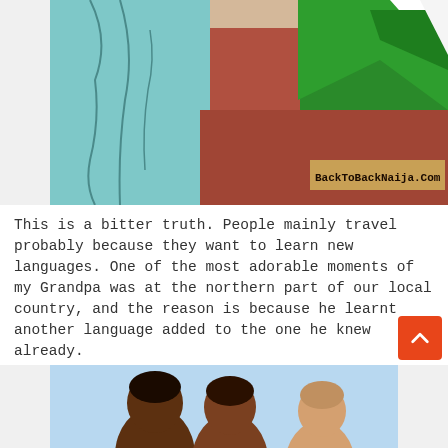[Figure (illustration): Cartoon illustration showing a figure in a teal/blue robe on the left, a reddish-brown wall in the middle, and a green flag with white background on the right. Bottom right corner shows watermark 'BackToBackNaija.Com' in dark text on a brown/tan background.]
This is a bitter truth. People mainly travel probably because they want to learn new languages. One of the most adorable moments of my Grandpa was at the northern part of our local country, and the reason is because he learnt another language added to the one he knew already.
TO VISIT FAMILY
[Figure (illustration): Cartoon illustration at the bottom of the page showing cartoon characters with dark skin tones against a light blue background. Only the top portion of the characters is visible.]